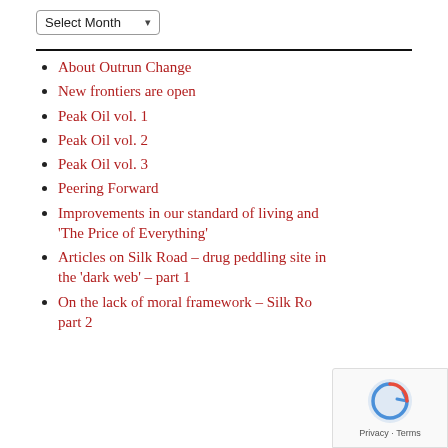Select Month
About Outrun Change
New frontiers are open
Peak Oil vol. 1
Peak Oil vol. 2
Peak Oil vol. 3
Peering Forward
Improvements in our standard of living and 'The Price of Everything'
Articles on Silk Road – drug peddling site in the 'dark web' – part 1
On the lack of moral framework – Silk Road – part 2